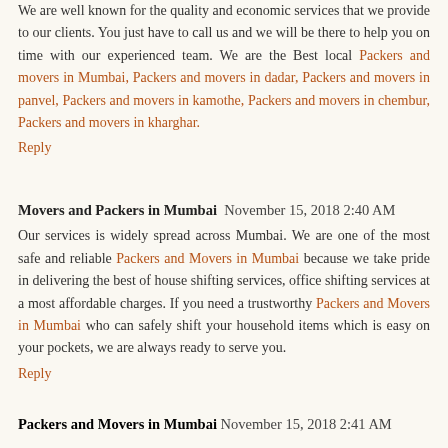We are well known for the quality and economic services that we provide to our clients. You just have to call us and we will be there to help you on time with our experienced team. We are the Best local Packers and movers in Mumbai, Packers and movers in dadar, Packers and movers in panvel, Packers and movers in kamothe, Packers and movers in chembur, Packers and movers in kharghar.
Reply
Movers and Packers in Mumbai  November 15, 2018 2:40 AM
Our services is widely spread across Mumbai. We are one of the most safe and reliable Packers and Movers in Mumbai because we take pride in delivering the best of house shifting services, office shifting services at a most affordable charges. If you need a trustworthy Packers and Movers in Mumbai who can safely shift your household items which is easy on your pockets, we are always ready to serve you.
Reply
Packers and Movers in Mumbai  November 15, 2018 2:41 AM